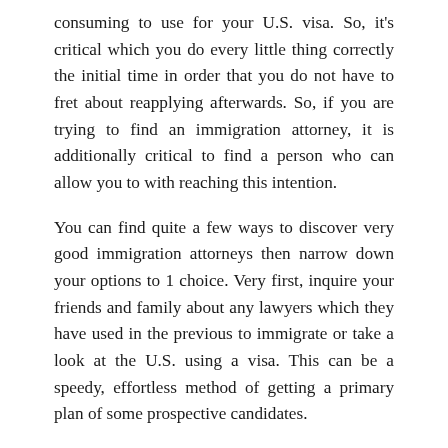consuming to use for your U.S. visa. So, it's critical which you do every little thing correctly the initial time in order that you do not have to fret about reapplying afterwards. So, if you are trying to find an immigration attorney, it is additionally critical to find a person who can allow you to with reaching this intention.
You can find quite a few ways to discover very good immigration attorneys then narrow down your options to 1 choice. Very first, inquire your friends and family about any lawyers which they have used in the previous to immigrate or take a look at the U.S. using a visa. This can be a speedy, effortless method of getting a primary plan of some prospective candidates.